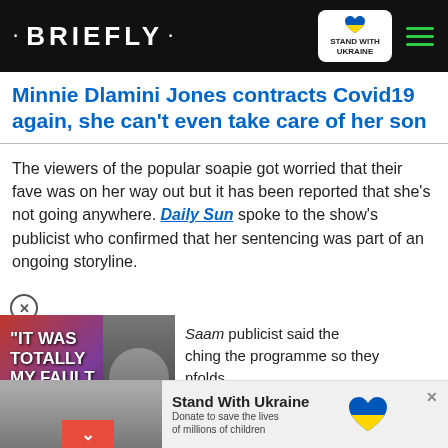• BRIEFLY •
Minnie Dlamini Jones contracts Covid19 again, she can't even take care of her son
The viewers of the popular soapie got worried that their fave was on her way out but it has been reported that she's not going anywhere. Daily Sun spoke to the show's publicist who confirmed that her sentencing was part of an ongoing storyline.
[Figure (screenshot): Video overlay with text 'IT WAS TOTALLY MY FAULT' and a person in a wheelchair. Red scroll-down button at bottom.]
Saam publicist said the ching the programme so they nfolds.
s breaking news – join Briefly
[Figure (infographic): Stand With Ukraine banner ad: 'Donate to save the lives of millions of children' with Ukraine heart logo.]